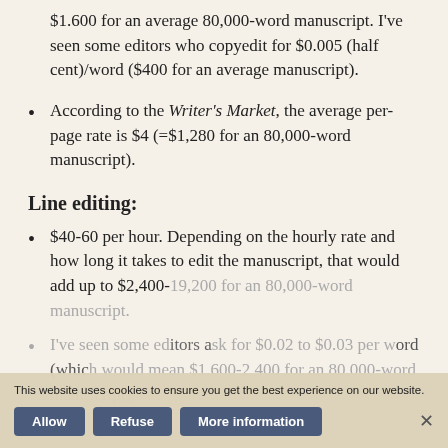$1.600 for an average 80,000-word manuscript. I've seen some editors who copyedit for $0.005 (half cent)/word ($400 for an average manuscript).
According to the Writer's Market, the average per-page rate is $4 (=$1,280 for an 80,000-word manuscript).
Line editing:
$40-60 per hour. Depending on the hourly rate and how long it takes to edit the manuscript, that would add up to $2,400-19,200 for an 80,000-word manuscript.
I've seen some editors ask for $0.02 to $0.03 per word (which would mean $1,600-2,400 for an 80,000-word manuscript).